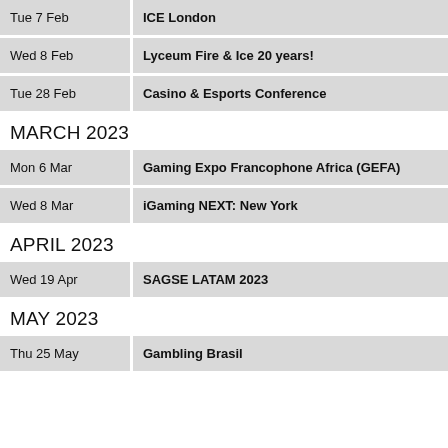| Date | Event |
| --- | --- |
| Tue 7 Feb | ICE London |
| Wed 8 Feb | Lyceum Fire & Ice 20 years! |
| Tue 28 Feb | Casino & Esports Conference |
MARCH 2023
| Date | Event |
| --- | --- |
| Mon 6 Mar | Gaming Expo Francophone Africa (GEFA) |
| Wed 8 Mar | iGaming NEXT: New York |
APRIL 2023
| Date | Event |
| --- | --- |
| Wed 19 Apr | SAGSE LATAM 2023 |
MAY 2023
| Date | Event |
| --- | --- |
| Thu 25 May | Gambling Brasil |